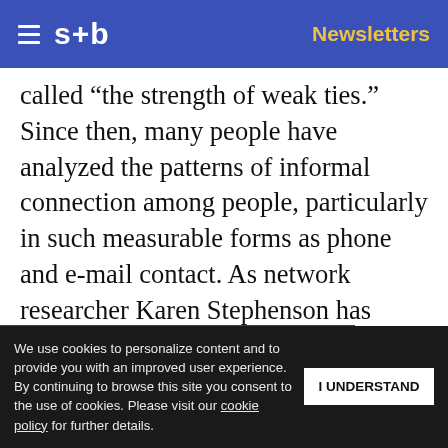s+b | Newsletters
called “the strength of weak ties.” Since then, many people have analyzed the patterns of informal connection among people, particularly in such measurable forms as phone and e-mail contact. As network researcher Karen Stephenson has found, key people in an organization fulfill one of three [roles] in the [members of human exchange]:
Get s+b’s award-winning newsletter delivered to your inbox.
We use cookies to personalize content and to provide you with an improved user experience. By continuing to browse this site you consent to the use of cookies. Please visit our cookie policy for further details.